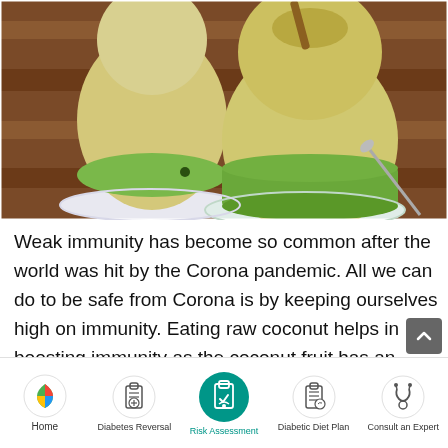[Figure (photo): Two young green coconuts served on saucers on a wooden table, with a spoon visible on the right side. The coconuts have their tops partially cut open and appear fresh.]
Weak immunity has become so common after the world was hit by the Corona pandemic. All we can do to be safe from Corona is by keeping ourselves high on immunity. Eating raw coconut helps in boosting immunity as the coconut fruit has an antibacterial and
Home | Diabetes Reversal | Risk Assessment | Diabetic Diet Plan | Consult an Expert